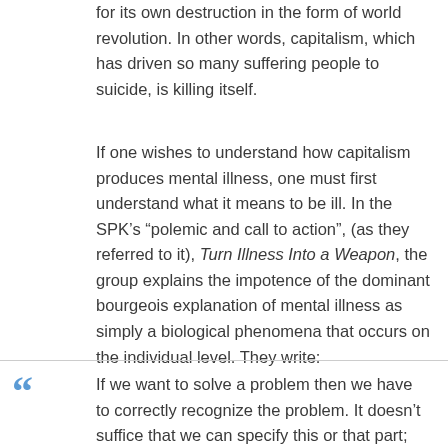for its own destruction in the form of world revolution. In other words, capitalism, which has driven so many suffering people to suicide, is killing itself.
If one wishes to understand how capitalism produces mental illness, one must first understand what it means to be ill. In the SPK’s “polemic and call to action”, (as they referred to it), Turn Illness Into a Weapon, the group explains the impotence of the dominant bourgeois explanation of mental illness as simply a biological phenomena that occurs on the individual level. They write:
If we want to solve a problem then we have to correctly recognize the problem. It doesn’t suffice that we can specify this or that part; we have to grasp all the moments that determine the problem and their interactions with each other. Only in that way is it possible for the knowledge and solution of